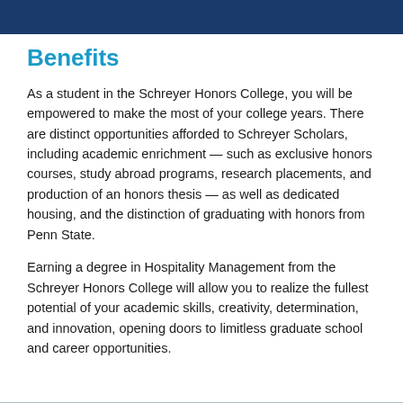Benefits
As a student in the Schreyer Honors College, you will be empowered to make the most of your college years. There are distinct opportunities afforded to Schreyer Scholars, including academic enrichment — such as exclusive honors courses, study abroad programs, research placements, and production of an honors thesis — as well as dedicated housing, and the distinction of graduating with honors from Penn State.
Earning a degree in Hospitality Management from the Schreyer Honors College will allow you to realize the fullest potential of your academic skills, creativity, determination, and innovation, opening doors to limitless graduate school and career opportunities.